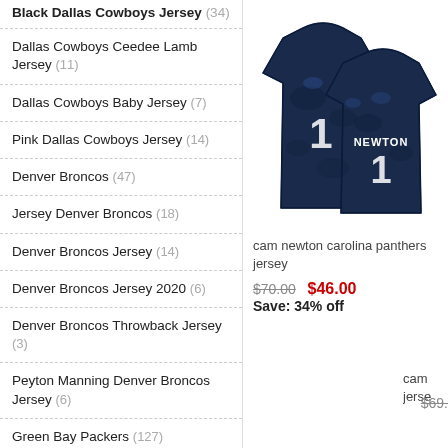Black Dallas Cowboys Jersey (34)
Dallas Cowboys Ceedee Lamb Jersey (11)
Dallas Cowboys Baby Jersey (7)
Pink Dallas Cowboys Jersey (14)
Denver Broncos (47)
Jersey Denver Broncos (18)
Denver Broncos Jersey (14)
Denver Broncos Jersey 2020 (6)
Denver Broncos Throwback Jersey (3)
Peyton Manning Denver Broncos Jersey (6)
Green Bay Packers (127)
Jersey Green Bay Packers (17)
Green Bay Packers Jersey Uk (12)
Green Bay Packers Aaron Rodgers Jersey (20)
[Figure (photo): Two dark blue patterned NFL jerseys with number 1, one showing front and one showing back with NEWTON name]
cam newton carolina panthers jersey
$70.00  $46.00  Save: 34% off
cam jerse